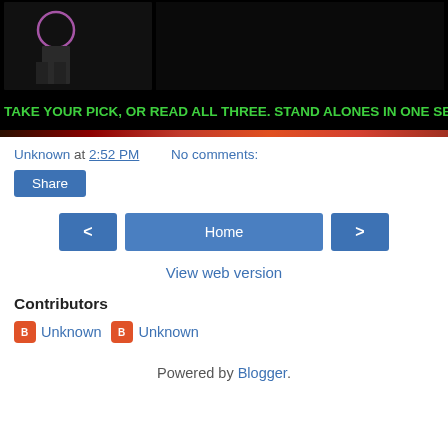[Figure (illustration): Book cover image with dark background showing a figure and a pink/purple circle, with the author signature 'Stevie J. Cole' and a green text banner reading 'Take your pick, or read all three. Stand alones in one series.']
Unknown at 2:52 PM    No comments:
Share
< Home >
View web version
Contributors
Unknown Unknown
Powered by Blogger.